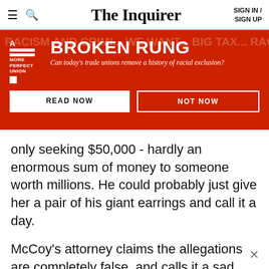The Inquirer | SIGN IN / SIGN UP
[Figure (infographic): Red banner advertisement for 'Broken Rung' article series. Logo: A More Perfect Union. Title: BROKEN RUNG. Subtitle: Can today's trade unions remove a history of racial exclusion? Two buttons: READ NOW and NOT NOW.]
only seeking $50,000 - hardly an enormous sum of money to someone worth millions. He could probably just give her a pair of his giant earrings and call it a day.
McCoy's attorney claims the allegations are completely false, and calls it a sad attempt to extract money, so we'll see how this develops.